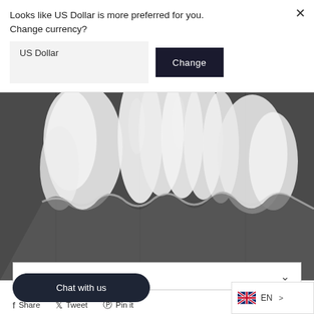Looks like US Dollar is more preferred for you. Change currency?
[Figure (screenshot): Currency change UI with US Dollar dropdown and Change button]
[Figure (photo): Product photo showing white fur trim on dark fabric background]
REVIEWS
Chat with us
Share
Tweet
Pin it
EN